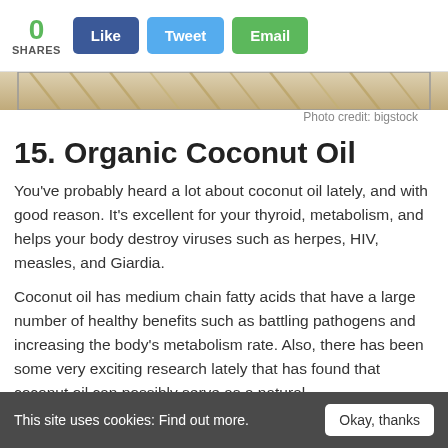0 SHARES  Like  Tweet  Email
[Figure (photo): Cropped image of coconut palm fronds or natural fiber material, photo credit: bigstock]
Photo credit: bigstock
15. Organic Coconut Oil
You've probably heard a lot about coconut oil lately, and with good reason. It's excellent for your thyroid, metabolism, and helps your body destroy viruses such as herpes, HIV, measles, and Giardia.
Coconut oil has medium chain fatty acids that have a large number of healthy benefits such as battling pathogens and increasing the body's metabolism rate. Also, there has been some very exciting research lately that has found that coconut oil can possibly serve as a natural
This site uses cookies: Find out more.   Okay, thanks